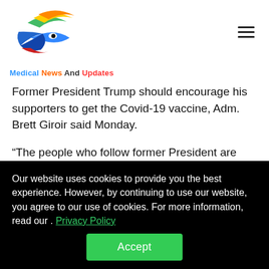[Figure (logo): Medical News And Updates logo — colorful swoosh/fish shape in blue, green, yellow, orange, red colors]
Medical News And Updates
Former President Trump should encourage his supporters to get the Covid-19 vaccine, Adm. Brett Giroir said Monday.
“The people who follow former President are very committed to President Trump, and I think his leadership
Our website uses cookies to provide you the best experience. However, by continuing to use our website, you agree to our use of cookies. For more information, read our . Privacy Policy
Accept